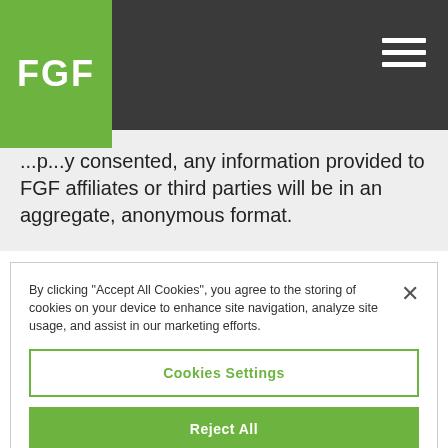[Figure (logo): FGF logo - white bold text on green background square]
...p...y consented, any information provided to FGF affiliates or third parties will be in an aggregate, anonymous format.
By clicking "Accept All Cookies", you agree to the storing of cookies on your device to enhance site navigation, analyze site usage, and assist in our marketing efforts.
Cookies Settings
Reject All
Accept All Cookies